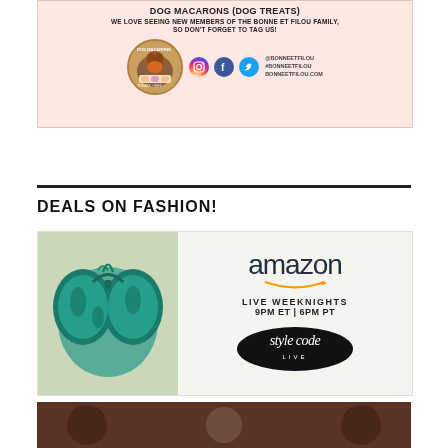[Figure (photo): Dog Macarons (Dog Treats) advertisement with pink background, showing a dog with macarons, social media icons (Instagram, Facebook, Twitter), and text '@BONNEETFILOU #BONNEETFILOU BONNEETFILOU.COM']
DEALS ON FASHION!
[Figure (photo): Amazon Style Code Live advertisement showing amazon logo with smile, 'LIVE WEEKNIGHTS 9PM ET | 6PM PT', Style Code Live logo, and a teal/green tropical print bikini top on the left side]
[Figure (photo): Partial view of a fashion/lifestyle image at the bottom of the page, showing people]